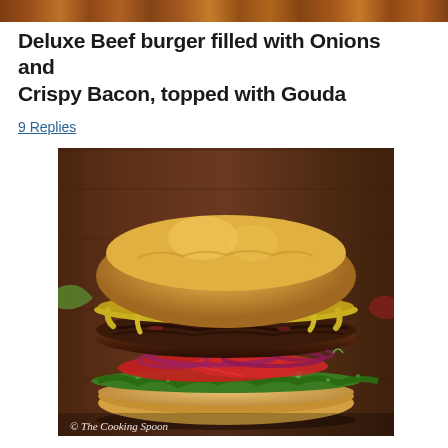[Figure (photo): Narrow horizontal strip at top of page showing a blurred food/burger background image in warm brown tones]
Deluxe Beef burger filled with Onions and Crispy Bacon, topped with Gouda
9 Replies
[Figure (photo): Close-up photograph of a large beef burger with melted Gouda cheese, red onion rings, tomato slices, microgreens/sprouts, on a wooden surface. Copyright watermark reads '© The Cooking Spoon']